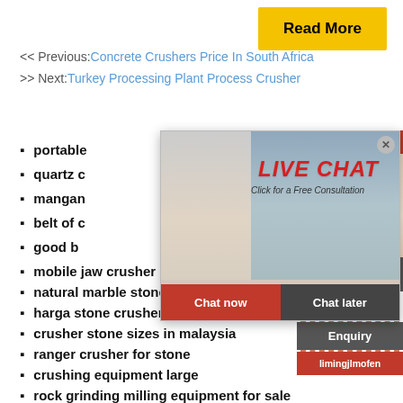Read More
<< Previous:Concrete Crushers Price In South Africa
>> Next:Turkey Processing Plant Process Crusher
portable ...
quartz c...
mangan...
belt of c...
good b...
mobile jaw crusher inspection checklist
natural marble stone in kenya
harga stone crusher plant kapasitas 100...
crusher stone sizes in malaysia
ranger crusher for stone
crushing equipment large
rock grinding milling equipment for sale... machine
[Figure (screenshot): Live chat popup with workers in hard hats background, LIVE CHAT text in red italic, Chat now and Chat later buttons]
[Figure (screenshot): Right sidebar with 24Hrs Online header, customer service agent photo, Need questions & suggestion text, Chat Now button, Enquiry link, limingjlmofen link]